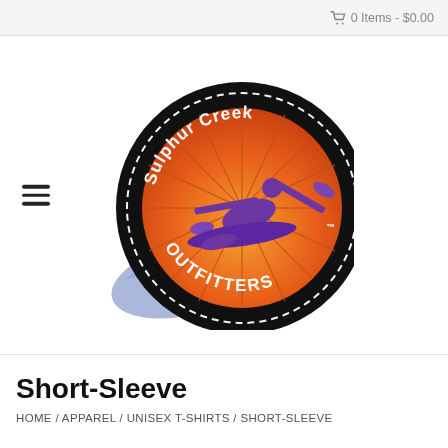0 Items - $0.00
[Figure (logo): Sulphur Creek Outfitters logo: circular badge with black toothed border, orange/red sunburst background, purple kayaker silhouette, blue wave, white text reading 'Sulphur Creek' on top and 'OUTFITTERS' on bottom]
Short-Sleeve
HOME / APPAREL / UNISEX T-SHIRTS / SHORT-SLEEVE